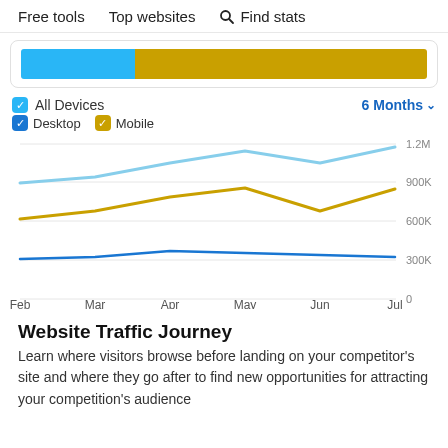Free tools   Top websites   🔍 Find stats
[Figure (stacked-bar-chart): Horizontal stacked bar: blue segment (~28%) and gold segment (~72%)]
[Figure (line-chart): ]
Website Traffic Journey
Learn where visitors browse before landing on your competitor's site and where they go after to find new opportunities for attracting your competition's audience